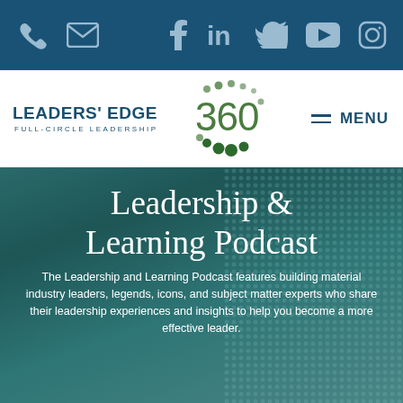Leaders' Edge 360 - Full-Circle Leadership - Website header with phone, email, Facebook, LinkedIn, Twitter, YouTube, Instagram icons
[Figure (logo): Leaders' Edge 360 Full-Circle Leadership logo with green dot pattern and 360 text]
Leadership & Learning Podcast
The Leadership and Learning Podcast features building material industry leaders, legends, icons, and subject matter experts who share their leadership experiences and insights to help you become a more effective leader.
The target audience is for all levels of leadership...